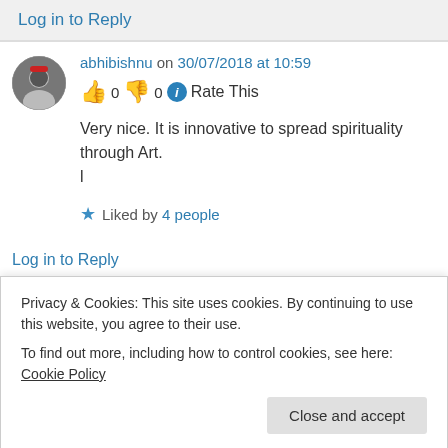Log in to Reply
abhibishnu on 30/07/2018 at 10:59
👍 0 👎 0 ℹ Rate This
Very nice. It is innovative to spread spirituality through Art.
l
★ Liked by 4 people
Log in to Reply
Privacy & Cookies: This site uses cookies. By continuing to use this website, you agree to their use.
To find out more, including how to control cookies, see here: Cookie Policy
Close and accept